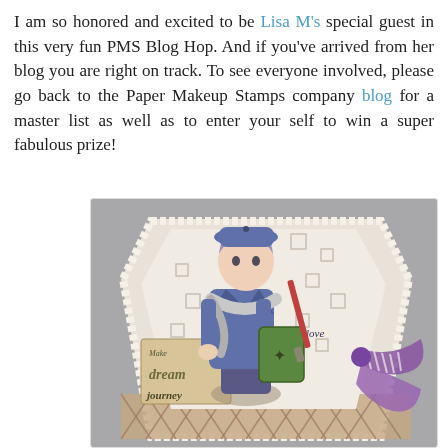I am so honored and excited to be Lisa M's special guest in this very fun PMS Blog Hop. And if you've arrived from her blog you are right on track. To see everyone involved, please go back to the Paper Makeup Stamps company blog for a master list as well as to enter your self to win a super fabulous prize!
[Figure (photo): A handmade craft card featuring an anime-style girl wearing a blue coat and hat, carrying a bag with a paint brush. The card has decorative elements including words 'love', 'dream', 'journey' and a purple and white striped ribbon bow. The card has a diamond/envelope shape with lace-like decorative borders.]